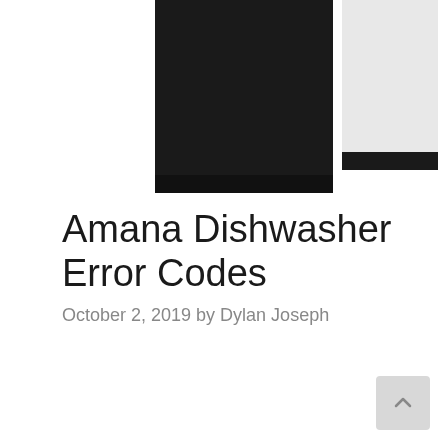[Figure (photo): Two Amana dishwashers side by side — one black (left) and one white (right), both partially cropped at the top of the image]
Amana Dishwasher Error Codes
October 2, 2019 by Dylan Joseph